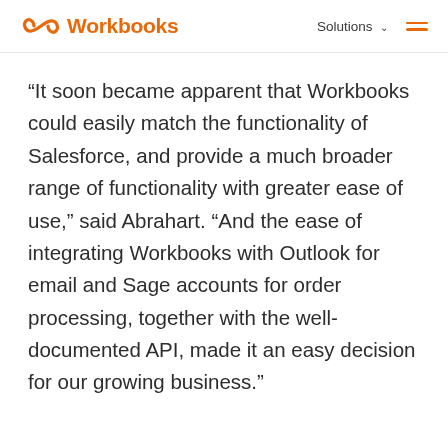Workbooks | Solutions
“It soon became apparent that Workbooks could easily match the functionality of Salesforce, and provide a much broader range of functionality with greater ease of use,” said Abrahart. “And the ease of integrating Workbooks with Outlook for email and Sage accounts for order processing, together with the well-documented API, made it an easy decision for our growing business.”